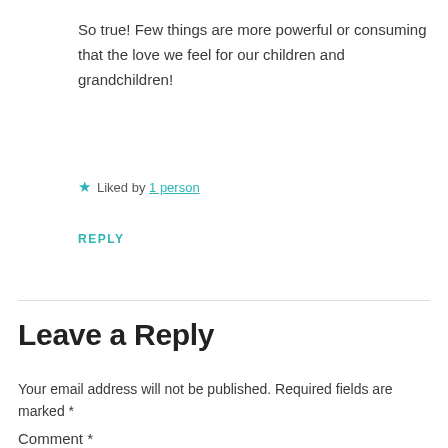So true! Few things are more powerful or consuming that the love we feel for our children and grandchildren!
★ Liked by 1 person
REPLY
Leave a Reply
Your email address will not be published. Required fields are marked *
Comment *